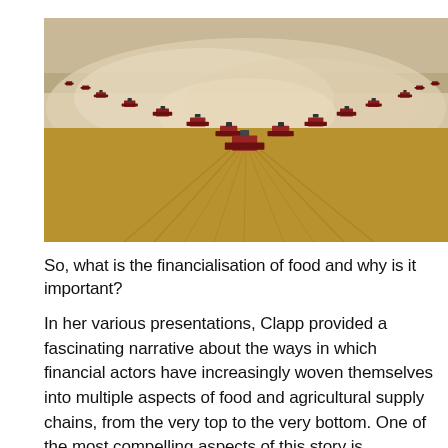[Figure (photo): Aerial view of many red combine harvesters working in a large golden wheat or soybean field, arranged in a V-formation, kicking up large clouds of dust against a pale sky.]
So, what is the financialisation of food and why is it important?
In her various presentations, Clapp provided a fascinating narrative about the ways in which financial actors have increasingly woven themselves into multiple aspects of food and agricultural supply chains, from the very top to the very bottom. One of the most compelling aspects of this story is